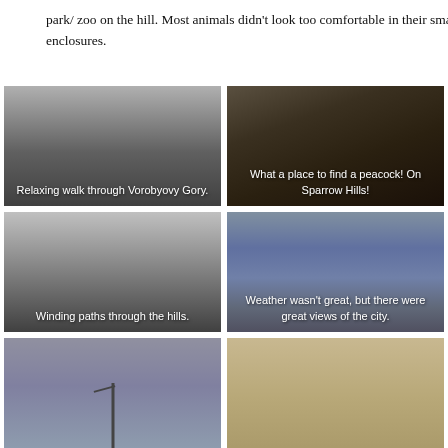park/ zoo on the hill. Most animals didn't look too comfortable in their small enclosures.
[Figure (photo): Photo tile with grey gradient overlay, caption: Relaxing walk through Vorobyovy Gory.]
[Figure (photo): Dark photo of enclosure with reflections, caption: What a place to find a peacock! On Sparrow Hills!]
[Figure (photo): Photo tile with grey gradient overlay, caption: Winding paths through the hills.]
[Figure (photo): Photo of cloudy sky over city, caption: Weather wasn't great, but there were great views of the city.]
[Figure (photo): Photo of grey sky with pole/figure silhouette.]
[Figure (photo): Photo of sandy/tan surface.]